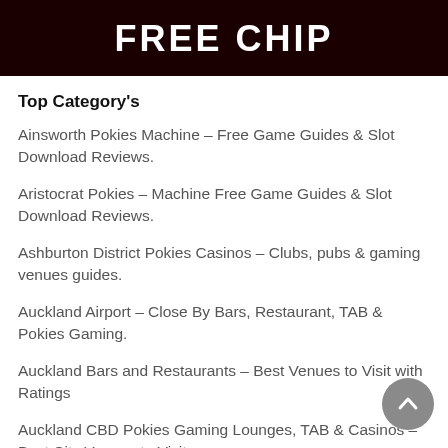FREE CHIP
Top Category's
Ainsworth Pokies Machine – Free Game Guides & Slot Download Reviews.
Aristocrat Pokies – Machine Free Game Guides & Slot Download Reviews.
Ashburton District Pokies Casinos – Clubs, pubs & gaming venues guides.
Auckland Airport – Close By Bars, Restaurant, TAB & Pokies Gaming.
Auckland Bars and Restaurants – Best Venues to Visit with Ratings
Auckland CBD Pokies Gaming Lounges, TAB & Casinos – Best City Venues to Visit
Auckland Cocktail Bars – Best Venues to